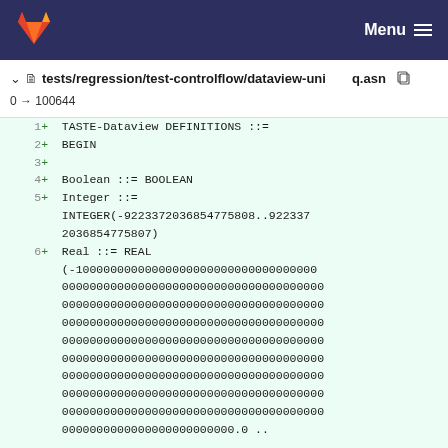Menu
tests/regression/test-controlflow/dataview-uniq.asn  0 → 100644
1  + TASTE-Dataview DEFINITIONS ::=
2  + BEGIN
3  +
4  + Boolean ::= BOOLEAN
5  + Integer ::=
      INTEGER(-9223372036854775808..9223372036854775807)
6  + Real ::= REAL
    (-100000000000000000000000000000000000000000000000000000000000000000000000000000000000000000000000000000000000000000000000000000000000000000000000000000000000000000000000000000000000000000000000000000000000000000000000000000000000000000000000000000000000000000000000000000000000000000000000000000000000000000000000000000000000000000000000000000.0 ..